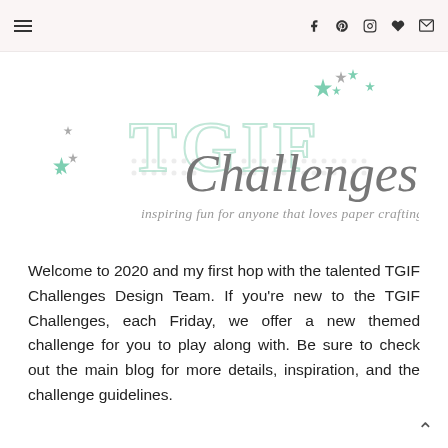TGIF Challenges blog header with menu icon and social media icons (Facebook, Pinterest, Instagram, heart/Bloglovin, email)
[Figure (logo): TGIF Challenges logo with mint and grey stars, script text reading 'Challenges' and tagline 'inspiring fun for anyone that loves paper crafting!']
Welcome to 2020 and my first hop with the talented TGIF Challenges Design Team. If you're new to the TGIF Challenges, each Friday, we offer a new themed challenge for you to play along with. Be sure to check out the main blog for more details, inspiration, and the challenge guidelines.